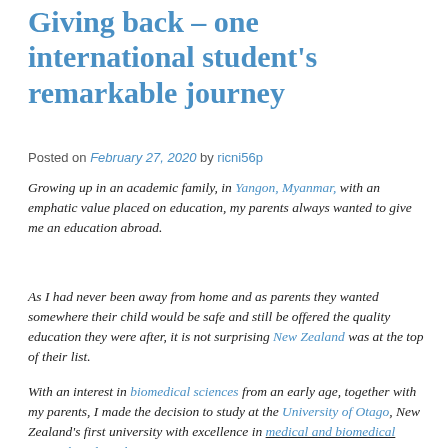Giving back – one international student's remarkable journey
Posted on February 27, 2020 by ricni56p
Growing up in an academic family, in Yangon, Myanmar, with an emphatic value placed on education, my parents always wanted to give me an education abroad.
As I had never been away from home and as parents they wanted somewhere their child would be safe and still be offered the quality education they were after, it is not surprising New Zealand was at the top of their list.
With an interest in biomedical sciences from an early age, together with my parents, I made the decision to study at the University of Otago, New Zealand's first university with excellence in medical and biomedical research and teaching.